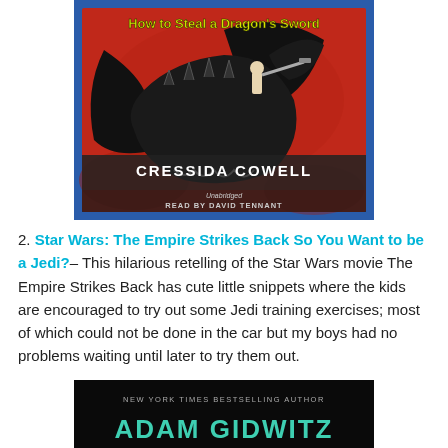[Figure (photo): Book cover of 'How to Steal a Dragon's Sword' by Cressida Cowell. Red background with a large black dragon and a small figure riding it. Yellow title text at top. Author name 'CRESSIDA COWELL' in white on dark band. 'Unabridged READ BY DAVID TENNANT' below.]
2. Star Wars: The Empire Strikes Back So You Want to be a Jedi?– This hilarious retelling of the Star Wars movie The Empire Strikes Back has cute little snippets where the kids are encouraged to try out some Jedi training exercises; most of which could not be done in the car but my boys had no problems waiting until later to try them out.
[Figure (photo): Bottom portion of a book cover with black background. Text reads 'NEW YORK TIMES BESTSELLING AUTHOR' and 'ADAM GIDWITZ' in green/teal letters.]